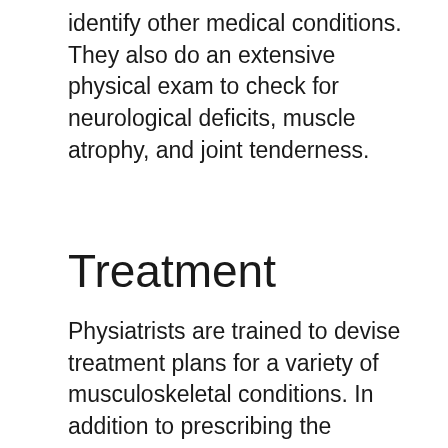identify other medical conditions. They also do an extensive physical exam to check for neurological deficits, muscle atrophy, and joint tenderness.
Treatment
Physiatrists are trained to devise treatment plans for a variety of musculoskeletal conditions. In addition to prescribing the appropriate medications, they might recommend mechanical traction, physical therapy, or surgery.
[Figure (photo): A blurred/soft-focus photograph showing what appears to be a medical professional (in white coat) and a patient, with warm light tones, partially cropped at the bottom of the page.]